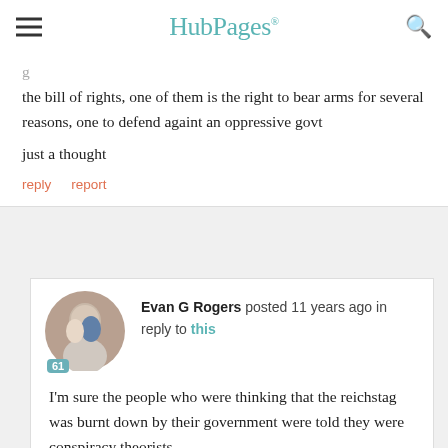HubPages
g the bill of rights, one of them is the right to bear arms for several reasons, one to defend againt an oppressive govt

just a thought
reply   report
Evan G Rogers posted 11 years ago in reply to this
I'm sure the people who were thinking that the reichstag was burnt down by their government were told they were conspiracy theorists.